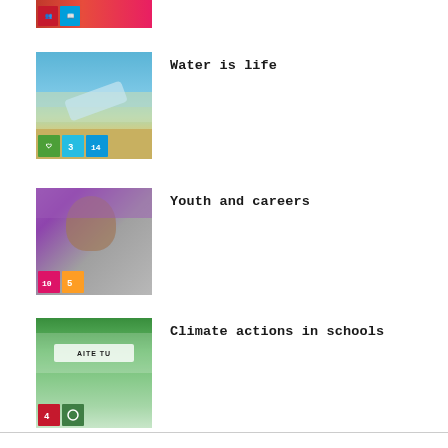[Figure (photo): Partial thumbnail at top showing SDG icons on red background]
[Figure (photo): Beach/water scene with plastic bottle and SDG icons (3, 14) overlay]
Water is life
[Figure (photo): Young man studying, with SDG icons (10, 5) overlay]
Youth and careers
[Figure (photo): Climate protest march with banner 'AITE TU', SDG icon (4) overlay]
Climate actions in schools